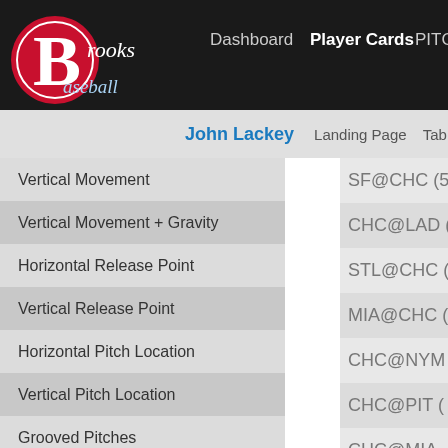Brooks Baseball — Dashboard | Player Cards | PITC...
John Lackey | Landing Page | Tab...
Vertical Movement
Vertical Movement + Gravity
Horizontal Release Point
Vertical Release Point
Horizontal Pitch Location
Vertical Pitch Location
Grooved Pitches
X-AXIS: TIME
Month
Year
Game
SF@CHC (5/...
CHC@LAD (5...
STL@CHC (6...
MIA@CHC (6...
CHC@NYM (...
CHC@PIT (6...
CHC@MIA (6...
CHC@WSH (...
TB@CHC (7/...
CHC@ATL ...